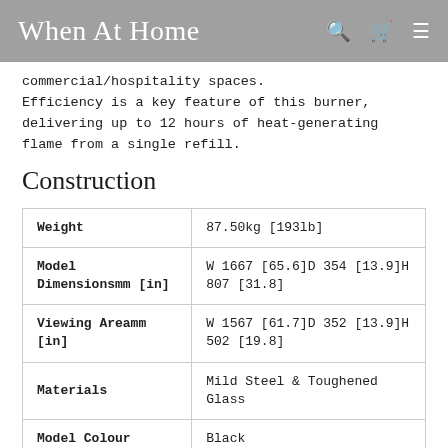When At Home
commercial/hospitality spaces.
Efficiency is a key feature of this burner, delivering up to 12 hours of heat-generating flame from a single refill.
Construction
| Property | Value |
| --- | --- |
| Weight | 87.50kg [193lb] |
| Model Dimensionsmm [in] | W 1667 [65.6]D 354 [13.9]H 807 [31.8] |
| Viewing Areamm [in] | W 1567 [61.7]D 352 [13.9]H 502 [19.8] |
| Materials | Mild Steel & Toughened Glass |
| Model Colour | Black |
| Burner Colours | Stainless Steel  Black |